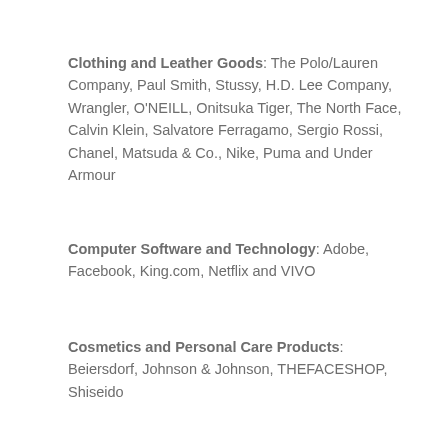Clothing and Leather Goods: The Polo/Lauren Company, Paul Smith, Stussy, H.D. Lee Company, Wrangler, O'NEILL, Onitsuka Tiger, The North Face, Calvin Klein, Salvatore Ferragamo, Sergio Rossi, Chanel, Matsuda & Co., Nike, Puma and Under Armour
Computer Software and Technology: Adobe, Facebook, King.com, Netflix and VIVO
Cosmetics and Personal Care Products: Beiersdorf, Johnson & Johnson, THEFACESHOP, Shiseido